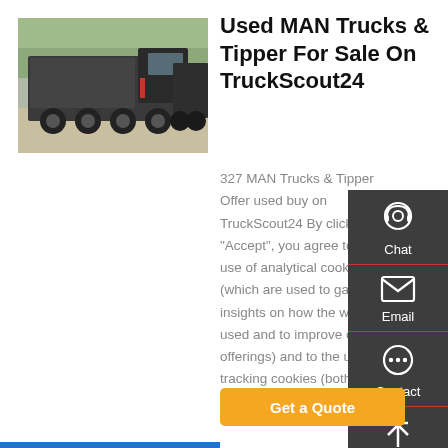[Figure (photo): Photograph of dark gray MAN dump trucks/tippers parked outdoors with trees in background]
Used MAN Trucks & Tipper For Sale On TruckScout24
327 MAN Trucks & Tipper Offer used buy on TruckScout24 By clicking "Accept", you agree to the use of analytical cookies (which are used to gather insights on how the website is used and to improve our offerings) and to the use of tracking cookies (both from
[Figure (infographic): Dark sidebar with Chat, Email, Contact, and Top navigation icons]
Get a Quote